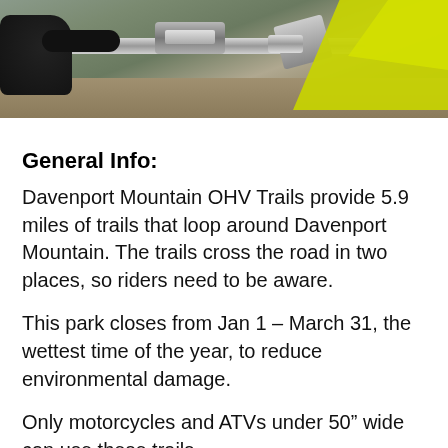[Figure (photo): Close-up photo of motorcycle handlebars with yellow/green fender or bodywork visible on the right, dark gloved hand on left grip, chrome and black components, outdoor dirt trail background.]
General Info:
Davenport Mountain OHV Trails provide 5.9 miles of trails that loop around Davenport Mountain. The trails cross the road in two places, so riders need to be aware.
This park closes from Jan 1 – March 31, the wettest time of the year, to reduce environmental damage.
Only motorcycles and ATVs under 50” wide can use these trails.
Trails cross the road in two places, so riders